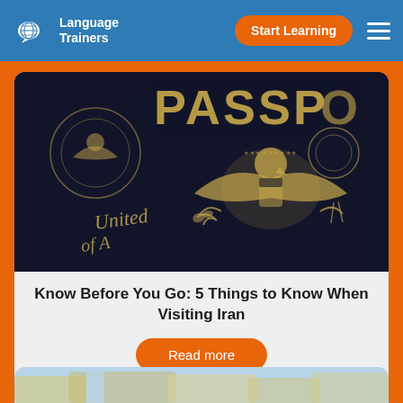Language Trainers | Start Learning
[Figure (photo): Close-up photograph of a dark navy blue US passport cover showing the US eagle emblem in gold and partial text 'PASSPORT' and 'United of A...']
Know Before You Go: 5 Things to Know When Visiting Iran
Read more
[Figure (photo): Partial view of a colorful map, visible at the bottom of the page]